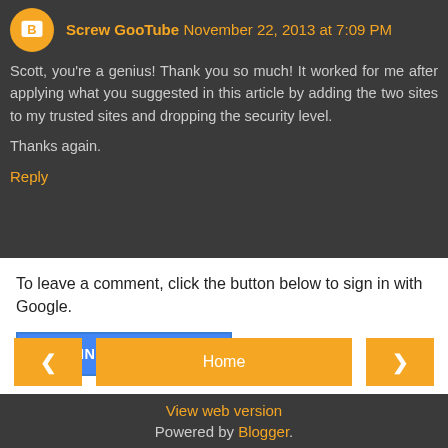Screw GooTube November 22, 2013 at 7:09 PM
Scott, you're a genius! Thank you so much! It worked for me after applying what you suggested in this article by adding the two sites to my trusted sites and dropping the security level.

Thanks again.
Reply
To leave a comment, click the button below to sign in with Google.
SIGN IN WITH GOOGLE
< Home >
View web version
Powered by Blogger.